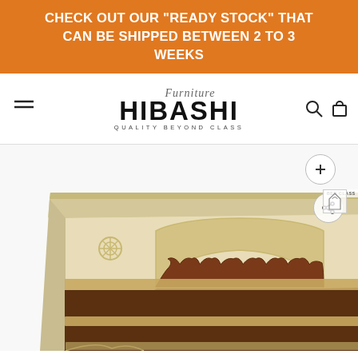CHECK OUT OUR "READY STOCK" THAT CAN BE SHIPPED BETWEEN 2 TO 3 WEEKS
[Figure (logo): Hibashi Furniture logo with script 'Furniture' text above bold 'HIBASHI' and tagline 'QUALITY BEYOND CLASS']
[Figure (photo): Antique-style wooden bookcase/shelf unit with cream/white carved floral frame featuring Mughal arch design, dark wood interior shelves, ornate carved detailing on front panels]